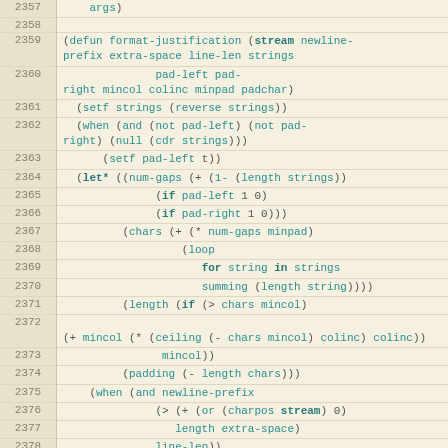Source code listing lines 2357-2384, Lisp format-justification function